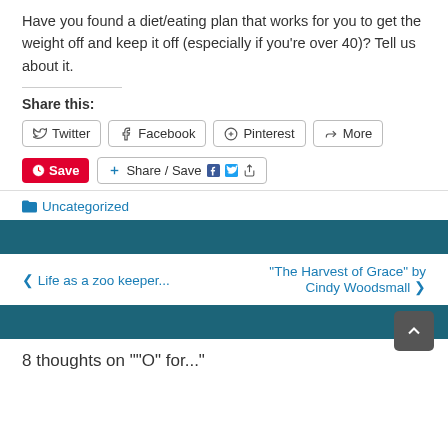Have you found a diet/eating plan that works for you to get the weight off and keep it off (especially if you're over 40)? Tell us about it.
Share this:
[Figure (screenshot): Social share buttons: Twitter, Facebook, Pinterest, More]
[Figure (screenshot): Save (Pinterest red button) and Share/Save button with Facebook and Twitter icons]
Uncategorized
[Figure (other): Dark teal horizontal bar divider]
< Life as a zoo keeper...
"The Harvest of Grace" by Cindy Woodsmall >
[Figure (other): Dark teal horizontal bar with scroll-to-top button]
8 thoughts on "“O” for..."